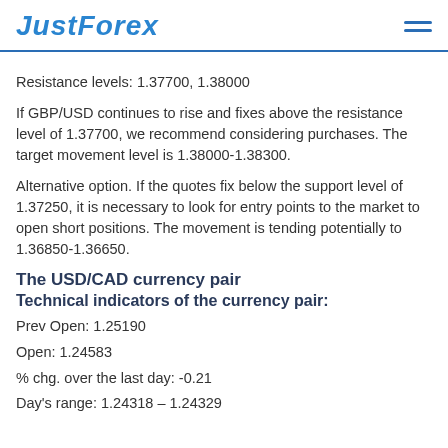JustForex
Resistance levels: 1.37700, 1.38000
If GBP/USD continues to rise and fixes above the resistance level of 1.37700, we recommend considering purchases. The target movement level is 1.38000-1.38300.
Alternative option. If the quotes fix below the support level of 1.37250, it is necessary to look for entry points to the market to open short positions. The movement is tending potentially to 1.36850-1.36650.
The USD/CAD currency pair
Technical indicators of the currency pair:
Prev Open: 1.25190
Open: 1.24583
% chg. over the last day: -0.21
Day's range: 1.24318 – 1.24329